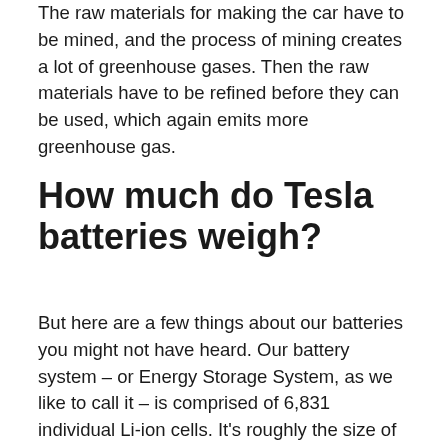The raw materials for making the car have to be mined, and the process of mining creates a lot of greenhouse gases. Then the raw materials have to be refined before they can be used, which again emits more greenhouse gas.
How much do Tesla batteries weigh?
But here are a few things about our batteries you might not have heard. Our battery system – or Energy Storage System, as we like to call it – is comprised of 6,831 individual Li-ion cells. It's roughly the size of a storage trunk and weighs about 900 pounds.